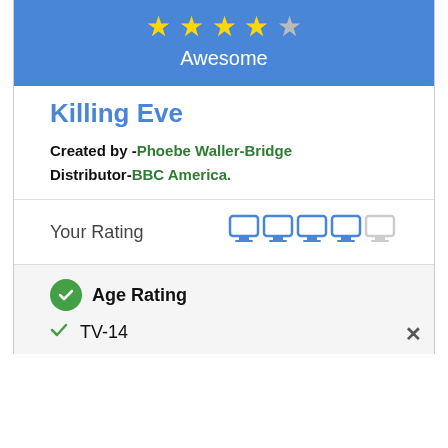[Figure (other): Blue rating banner showing 4 out of 5 stars and the word Awesome]
Killing Eve
Created by -Phoebe Waller-Bridge
Distributor-BBC America.
Your Rating
[Figure (other): 4 out of 5 monitor/TV icons for user rating]
Age Rating
TV-14